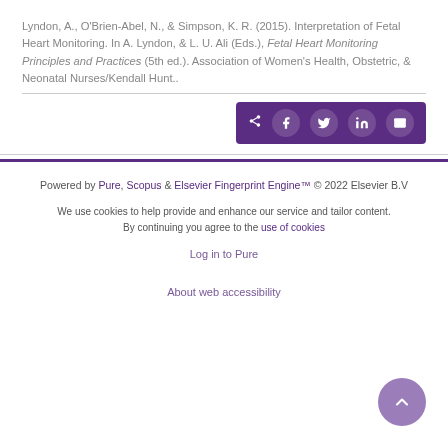Lyndon, A., O'Brien-Abel, N., & Simpson, K. R. (2015). Interpretation of Fetal Heart Monitoring. In A. Lyndon, & L. U. Ali (Eds.), Fetal Heart Monitoring Principles and Practices (5th ed.). Association of Women's Health, Obstetric, & Neonatal Nurses/Kendall Hunt..
[Figure (other): Share bar with social media icons: share, Facebook, Twitter, LinkedIn, email — dark purple background]
Powered by Pure, Scopus & Elsevier Fingerprint Engine™ © 2022 Elsevier B.V
We use cookies to help provide and enhance our service and tailor content. By continuing you agree to the use of cookies
Log in to Pure
About web accessibility